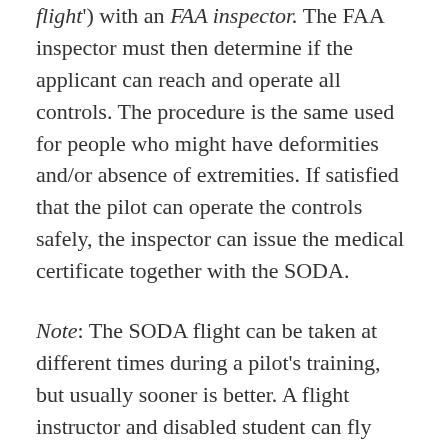flight') with an FAA inspector. The FAA inspector must then determine if the applicant can reach and operate all controls. The procedure is the same used for people who might have deformities and/or absence of extremities. If satisfied that the pilot can operate the controls safely, the inspector can issue the medical certificate together with the SODA.
Note: The SODA flight can be taken at different times during a pilot's training, but usually sooner is better. A flight instructor and disabled student can fly together through the dual lessons leading up to the first solo, and then have the FAA inspector conduct the SODA flight just prior to the first solo. Most CFIs will conduct a pre-solo